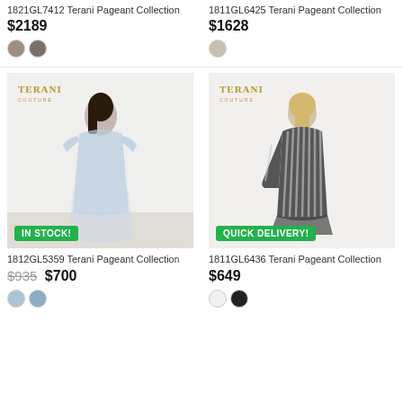1821GL7412 Terani Pageant Collection
$2189
1811GL6425 Terani Pageant Collection
$1628
[Figure (photo): Woman wearing sparkly off-shoulder light blue gown with Terani Couture logo, IN STOCK badge]
[Figure (photo): Woman wearing striped long-sleeve deep-V gown with Terani Couture logo, QUICK DELIVERY badge]
1812GL5359 Terani Pageant Collection
$935 $700
1811GL6436 Terani Pageant Collection
$649